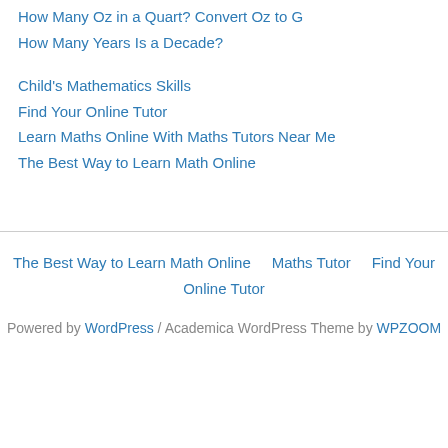How Many Oz in a Quart? Convert Oz to G
How Many Years Is a Decade?
Child's Mathematics Skills
Find Your Online Tutor
Learn Maths Online With Maths Tutors Near Me
The Best Way to Learn Math Online
The Best Way to Learn Math Online    Maths Tutor    Find Your Online Tutor
Powered by WordPress / Academica WordPress Theme by WPZOOM